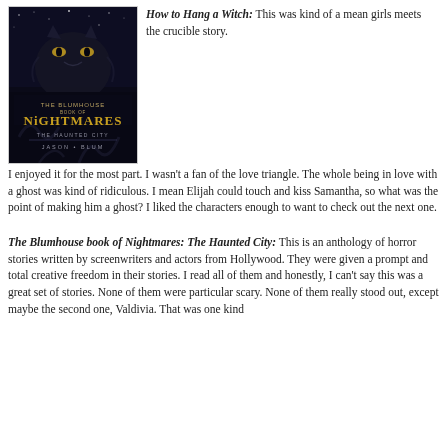[Figure (illustration): Book cover of 'The Blumhouse Book of Nightmares: The Haunted City' by Jason Blum. Dark cover with a shadowy cat and haunting imagery.]
How to Hang a Witch: This was kind of a mean girls meets the crucible story. I enjoyed it for the most part. I wasn't a fan of the love triangle. The whole being in love with a ghost was kind of ridiculous. I mean Elijah could touch and kiss Samantha, so what was the point of making him a ghost? I liked the characters enough to want to check out the next one.
The Blumhouse book of Nightmares: The Haunted City: This is an anthology of horror stories written by screenwriters and actors from Hollywood. They were given a prompt and total creative freedom in their stories. I read all of them and honestly, I can't say this was a great set of stories. None of them were particular scary. None of them really stood out, except maybe the second one, Valdivia. That was one kind